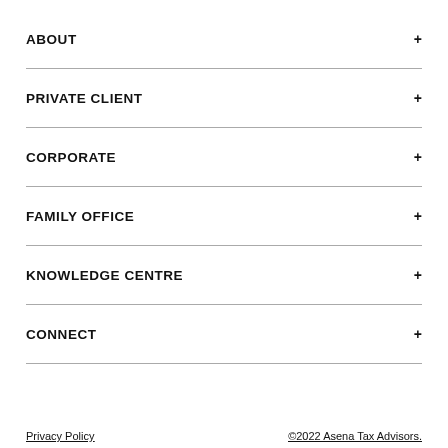ABOUT
PRIVATE CLIENT
CORPORATE
FAMILY OFFICE
KNOWLEDGE CENTRE
CONNECT
Privacy Policy   ©2022 Asena Tax Advisors.